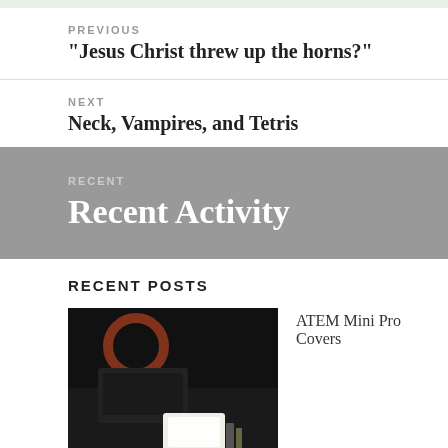PREVIOUS
"Jesus Christ threw up the horns?"
NEXT
Neck, Vampires, and Tetris
RECENT
Recent Activity
RECENT POSTS
[Figure (photo): Dark photo of a studio setup with camera equipment, ring light, and a glowing white light box on a desk]
ATEM Mini Pro Covers